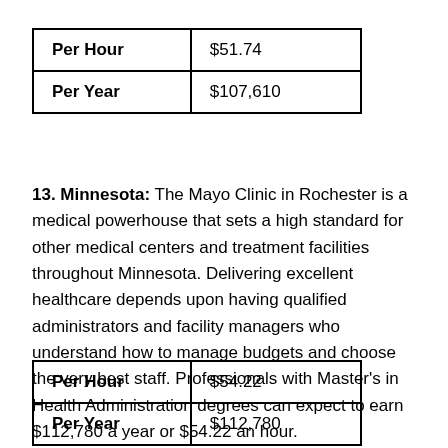| Per Hour | $51.74 |
| Per Year | $107,610 |
13. Minnesota: The Mayo Clinic in Rochester is a medical powerhouse that sets a high standard for other medical centers and treatment facilities throughout Minnesota. Delivering excellent healthcare depends upon having qualified administrators and facility managers who understand how to manage budgets and choose the very best staff. Professionals with Master's in Health Administration degrees can expect to earn $112,780 a year or $54.22 an hour.
| Per Hour | $54.22 |
| Per Year | $112,780 |